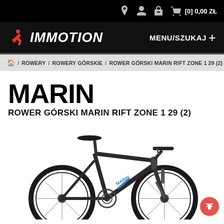[0] 0,00 ZŁ
IMMOTION  MENU/SZUKAJ +
🏠 / ROWERY / ROWERY GÓRSKIE / ROWER GÓRSKI MARIN RIFT ZONE 1 29 (2)
MARIN
ROWER GÓRSKI MARIN RIFT ZONE 1 29 (2)
[Figure (photo): Mountain bike Marin Rift Zone 1 29 (2) — dark gray/black full-suspension mountain bike with blue accents, shown in side profile facing right, with large 29-inch wheels]